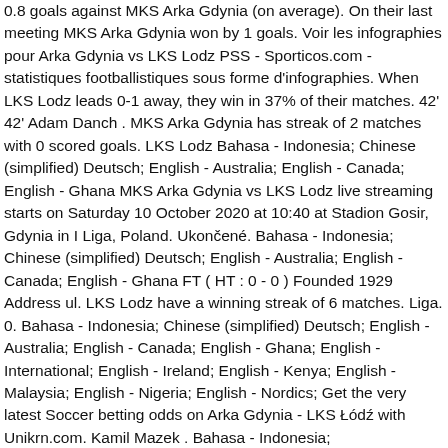0.8 goals against MKS Arka Gdynia (on average). On their last meeting MKS Arka Gdynia won by 1 goals. Voir les infographies pour Arka Gdynia vs LKS Lodz PSS - Sporticos.com - statistiques footballistiques sous forme d'infographies. When LKS Lodz leads 0-1 away, they win in 37% of their matches. 42' 42' Adam Danch . MKS Arka Gdynia has streak of 2 matches with 0 scored goals. LKS Lodz Bahasa - Indonesia; Chinese (simplified) Deutsch; English - Australia; English - Canada; English - Ghana MKS Arka Gdynia vs LKS Lodz live streaming starts on Saturday 10 October 2020 at 10:40 at Stadion Gosir, Gdynia in I Liga, Poland. Ukončené. Bahasa - Indonesia; Chinese (simplified) Deutsch; English - Australia; English - Canada; English - Ghana FT ( HT : 0 - 0 ) Founded 1929 Address ul. LKS Lodz have a winning streak of 6 matches. Liga. 0. Bahasa - Indonesia; Chinese (simplified) Deutsch; English - Australia; English - Canada; English - Ghana; English - International; English - Ireland; English - Kenya; English - Malaysia; English - Nigeria; English - Nordics; Get the very latest Soccer betting odds on Arka Gdynia - LKS Łódź with Unikrn.com. Kamil Mazek . Bahasa - Indonesia;